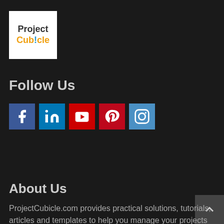[Figure (logo): Project Cubicle logo — white square background with 'Project' in dark text and 'Cub!cle' in orange with blue exclamation mark]
Follow Us
[Figure (infographic): Row of five social media icon buttons: Facebook (blue), LinkedIn (blue), YouTube (red), Pinterest (red), Instagram (blue)]
About Us
ProjectCubicle.com provides practical solutions, tutorials, articles and templates to help you manage your projects more successfully. It is a